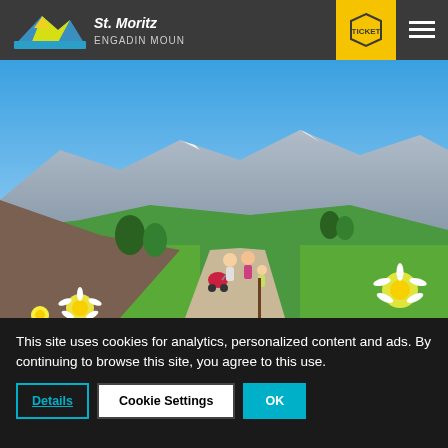[Figure (logo): St. Moritz Engadin Mountains logo on dark grey header bar with yellow ticket button and hamburger menu]
[Figure (photo): Family walking on a mountain path in summer with alpine meadows, daisy flowers in foreground, mountains in background under blue sky]
This site uses cookies for analytics, personalized content and ads. By continuing to browse this site, you agree to this use.
Details | Cookie Settings | OK